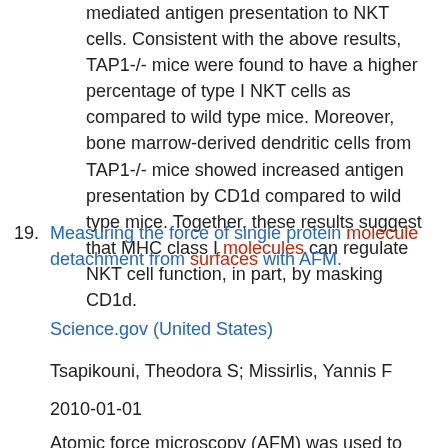mediated antigen presentation to NKT cells. Consistent with the above results, TAP1-/- mice were found to have a higher percentage of type I NKT cells as compared to wild type mice. Moreover, bone marrow-derived dendritic cells from TAP1-/- mice showed increased antigen presentation by CD1d compared to wild type mice. Together, these results suggest that MHC class I molecules can regulate NKT cell function, in part, by masking CD1d.
19. Measuring the force of single protein molecule detachment from surfaces with AFM.
Science.gov (United States)
Tsapikouni, Theodora S; Missirlis, Yannis F
2010-01-01
Atomic force microscopy (AFM) was used to measure the non-specific detachment force of single fibrinogen molecules from glass surfaces. The identification of single unbinding events was based on the characteristics of the parabolic curves, recorded during the stretching of protein molecules. Fibrinogen molecules were covalently bound to Si(3)N(4) AFM tips, previously